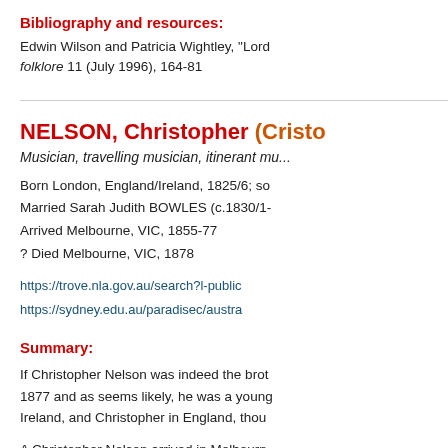Bibliography and resources:
Edwin Wilson and Patricia Wightley, "Lord... folklore 11 (July 1996), 164-81
NELSON, Christopher (Cristo...)
Musician, travelling musician, itinerant mu...
Born London, England/Ireland, 1825/6; so...
Married Sarah Judith BOWLES (c.1830/1-...
Arrived Melbourne, VIC, 1855-77
? Died Melbourne, VIC, 1878
https://trove.nla.gov.au/search?l-public...
https://sydney.edu.au/paradisec/austra...
Summary:
If Christopher Nelson was indeed the brot... 1877 and as seems likely, he was a young... Ireland, and Christopher in England, thou...
A Christopher Nelson arrived in Melbourn... advertised imports for sale in May. A Chris...